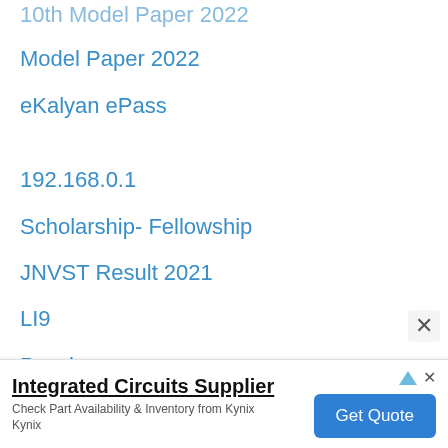10th Model Paper 2022 (partial/cut off)
Model Paper 2022
eKalyan ePass
192.168.0.1
Scholarship- Fellowship
JNVST Result 2021
LI9
Pavzi
Happy New Year 2022
[Figure (other): Advertisement banner: Integrated Circuits Supplier - Check Part Availability & Inventory from Kynix Kynix. Get Quote button.]